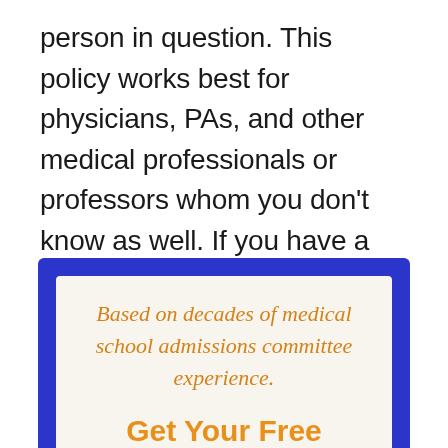person in question. This policy works best for physicians, PAs, and other medical professionals or professors whom you don't know as well. If you have a closer relationship with the recommender, you can feel free to ask them in a more casual context.
[Figure (infographic): Blue-bordered promotional box with light cream interior containing italic orange text 'Based on decades of medical school admissions committee experience.' and bold orange heading 'Get Your Free Medical School']